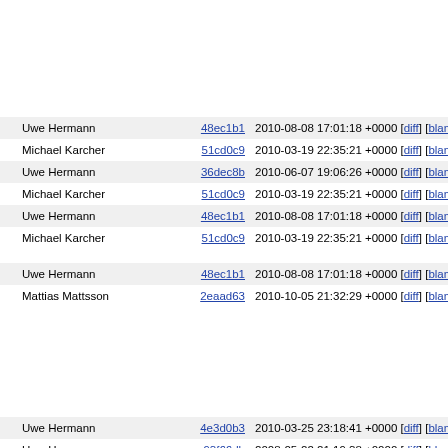| Author | Commit | Date | Links |
| --- | --- | --- | --- |
| Uwe Hermann | 48ec1b1 | 2010-08-08 17:01:18 +0000 | [diff] [blame] |
| Michael Karcher | 51cd0c9 | 2010-03-19 22:35:21 +0000 | [diff] [blame] |
| Uwe Hermann | 36dec8b | 2010-06-07 19:06:26 +0000 | [diff] [blame] |
| Michael Karcher | 51cd0c9 | 2010-03-19 22:35:21 +0000 | [diff] [blame] |
| Uwe Hermann | 48ec1b1 | 2010-08-08 17:01:18 +0000 | [diff] [blame] |
| Michael Karcher | 51cd0c9 | 2010-03-19 22:35:21 +0000 | [diff] [blame] |
| Uwe Hermann | 48ec1b1 | 2010-08-08 17:01:18 +0000 | [diff] [blame] |
| Mattias Mattsson | 2eaad63 | 2010-10-05 21:32:29 +0000 | [diff] [blame] |
| Uwe Hermann | 4e3d0b3 | 2010-03-25 23:18:41 +0000 | [diff] [blame] |
| Uwe Hermann | 93f66db | 2008-05-22 21:19:38 +0000 | [diff] [blame] |
| Luc Verhaegen | 60ea7dc | 2009-11-28 18:07:51 +0000 | [diff] [blame] |